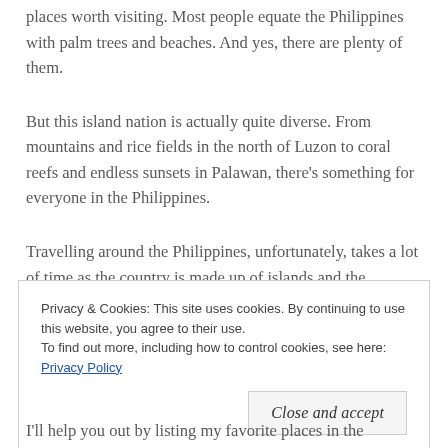places worth visiting. Most people equate the Philippines with palm trees and beaches. And yes, there are plenty of them.
But this island nation is actually quite diverse. From mountains and rice fields in the north of Luzon to coral reefs and endless sunsets in Palawan, there’s something for everyone in the Philippines.
Travelling around the Philippines, unfortunately, takes a lot of time as the country is made up of islands and the
Privacy & Cookies: This site uses cookies. By continuing to use this website, you agree to their use.
To find out more, including how to control cookies, see here: Privacy Policy
Close and accept
I'll help you out by listing my favorite places in the